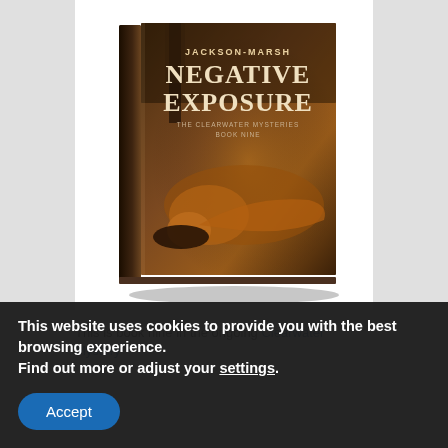[Figure (photo): 3D rendered hardcover book titled 'Negative Exposure' by Jackson-Marsh, subtitle 'The Clearwater Mysteries Book Nine', with a dark warm-toned cover showing a person lying back with dramatic lighting.]
This is book nine in the ongoing Clearwater Mystery
This website uses cookies to provide you with the best browsing experience.
Find out more or adjust your settings.
Accept